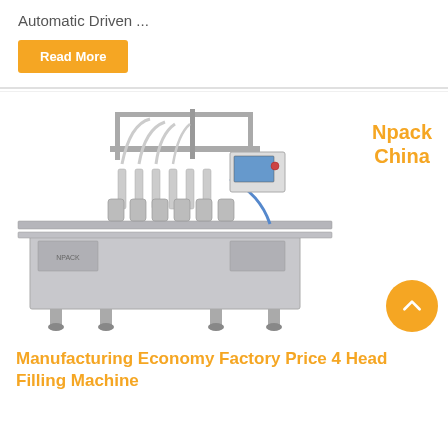Automatic Driven ...
Read More
[Figure (photo): Industrial 4-head automatic liquid filling machine, stainless steel construction with conveyor belt, multiple fill heads, and control panel. Brand label: Npack China displayed top right.]
Manufacturing Economy Factory Price 4 Head Filling Machine